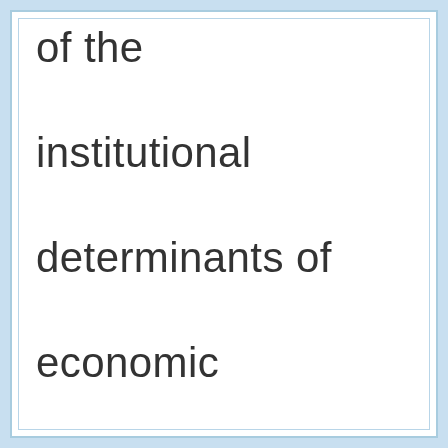of the institutional determinants of economic growth. UNU-MERIT Working Paper 2012-033. 2012